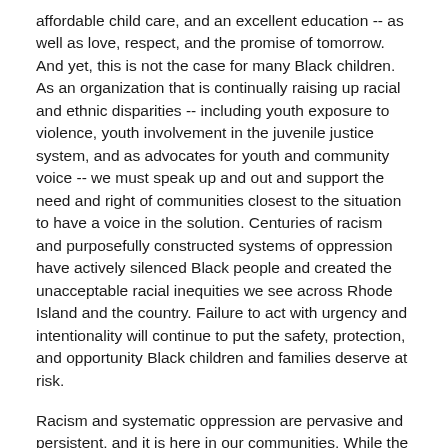affordable child care, and an excellent education -- as well as love, respect, and the promise of tomorrow. And yet, this is not the case for many Black children. As an organization that is continually raising up racial and ethnic disparities -- including youth exposure to violence, youth involvement in the juvenile justice system, and as advocates for youth and community voice -- we must speak up and out and support the need and right of communities closest to the situation to have a voice in the solution. Centuries of racism and purposefully constructed systems of oppression have actively silenced Black people and created the unacceptable racial inequities we see across Rhode Island and the country. Failure to act with urgency and intentionality will continue to put the safety, protection, and opportunity Black children and families deserve at risk.
Racism and systematic oppression are pervasive and persistent, and it is here in our communities. While the slew of recent tragedies have not taken place in Rhode